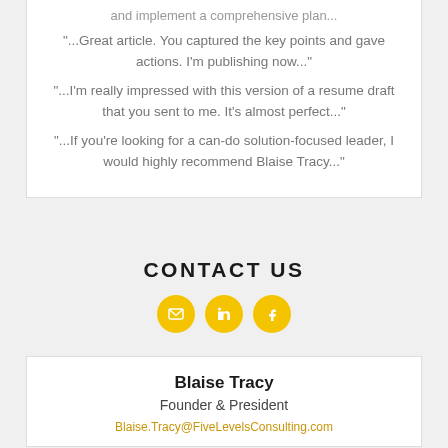and implement a comprehensive plan...
"...Great article. You captured the key points and gave actions. I'm publishing now..."
"...I'm really impressed with this version of a resume draft that you sent to me. It's almost perfect..."
"...If you're looking for a can-do solution-focused leader, I would highly recommend Blaise Tracy..."
CONTACT US
[Figure (infographic): Three yellow circular social media icons: email envelope, LinkedIn, and Facebook]
Blaise Tracy
Founder & President
Blaise.Tracy@FiveLevelsConsulting.com